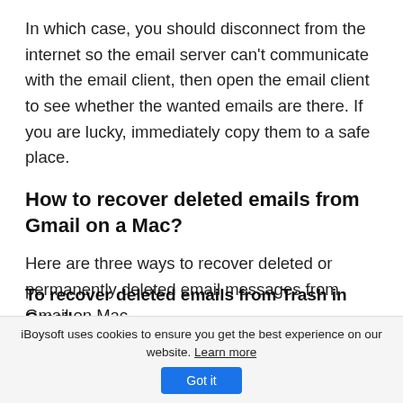In which case, you should disconnect from the internet so the email server can't communicate with the email client, then open the email client to see whether the wanted emails are there. If you are lucky, immediately copy them to a safe place.
How to recover deleted emails from Gmail on a Mac?
Here are three ways to recover deleted or permanently deleted email messages from Gmail on Mac.
To recover deleted emails from Trash in Gmail...
iBoysoft uses cookies to ensure you get the best experience on our website. Learn more Got it